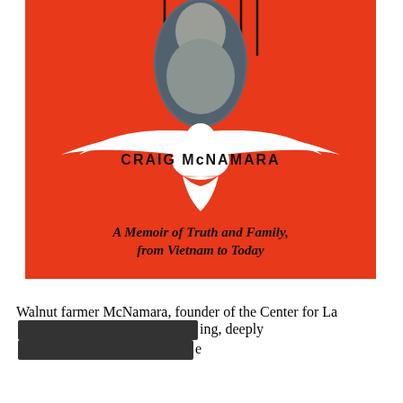[Figure (illustration): Book cover on red/orange background. Shows an oval photo at top with a person's face/head, vertical decorative lines, a large white dove silhouette in the center with author name 'CRAIG McNAMARA' inside, and subtitle text at bottom.]
Walnut farmer McNamara, founder of the Center for La[redacted]ing, deeply[redacted]e